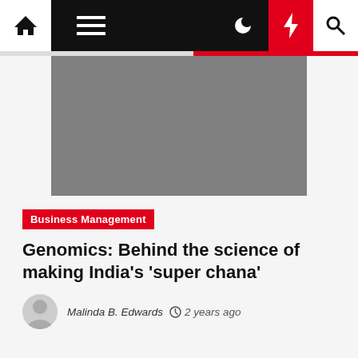Navigation bar with home, menu, moon, bolt, and search icons
[Figure (photo): Gray placeholder hero image for article about genomics and India's super chana]
Business Management
Genomics: Behind the science of making India's 'super chana'
Malinda B. Edwards  2 years ago